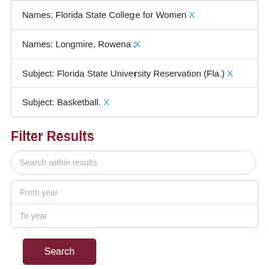Names: Florida State College for Women X
Names: Longmire, Rowena X
Subject: Florida State University Reservation (Fla.) X
Subject: Basketball. X
Filter Results
Search within results
From year
To year
Search
Additional filters: